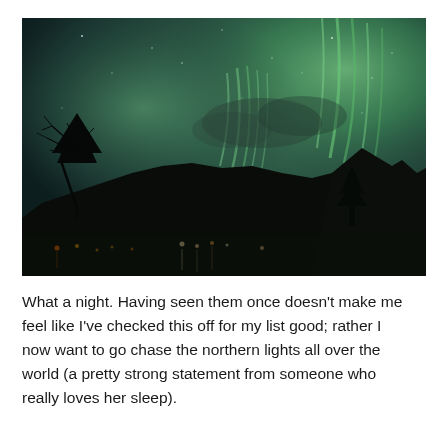[Figure (photo): Night-time photograph of the aurora borealis (northern lights) over a mountainous landscape. Green aurora curtains shimmer in the sky above a dark silhouetted mountain ridge. A bare tree is visible on the left side, a conifer on the right. Town lights reflecting off water are visible at the base of the mountains.]
What a night. Having seen them once doesn't make me feel like I've checked this off for my list good; rather I now want to go chase the northern lights all over the world (a pretty strong statement from someone who really loves her sleep).